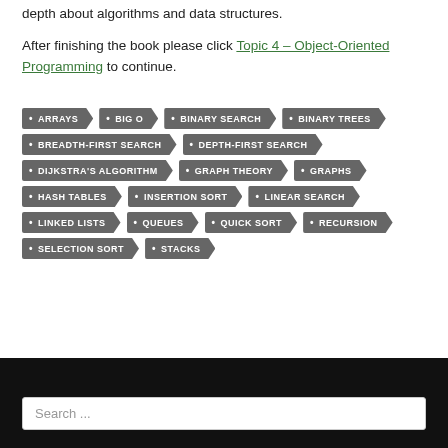depth about algorithms and data structures.
After finishing the book please click Topic 4 – Object-Oriented Programming to continue.
[Figure (infographic): Tag cloud of programming and algorithm topics: ARRAYS, BIG O, BINARY SEARCH, BINARY TREES, BREADTH-FIRST SEARCH, DEPTH-FIRST SEARCH, DIJKSTRA'S ALGORITHM, GRAPH THEORY, GRAPHS, HASH TABLES, INSERTION SORT, LINEAR SEARCH, LINKED LISTS, QUEUES, QUICK SORT, RECURSION, SELECTION SORT, STACKS]
Search ...